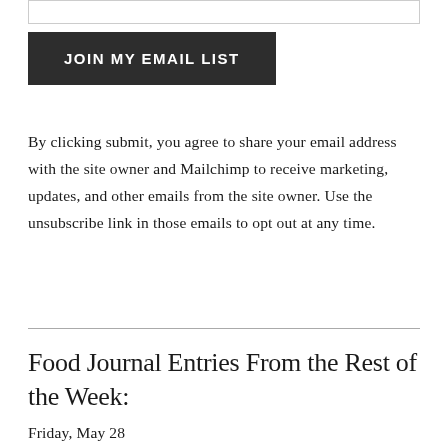[input field]
JOIN MY EMAIL LIST
By clicking submit, you agree to share your email address with the site owner and Mailchimp to receive marketing, updates, and other emails from the site owner. Use the unsubscribe link in those emails to opt out at any time.
Food Journal Entries From the Rest of the Week:
Friday, May 28